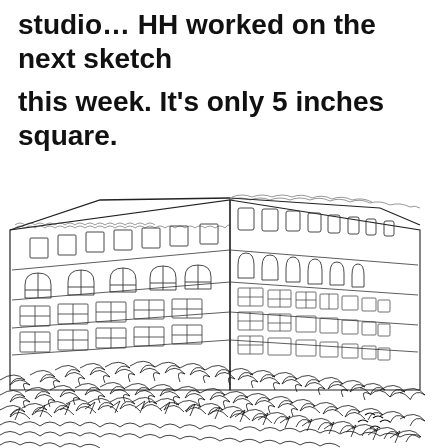studio… HH worked on the next sketch this week.  It's only 5 inches square.
[Figure (illustration): A detailed pen-and-ink architectural sketch of the upper corner of a multi-story brick building viewed from below, with ornate windows and arched details, surrounded by dense foliage/trees in the foreground, and small birds in the lower right sky.]